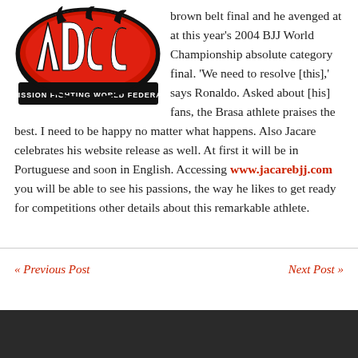brown belt final and he avenged at at this year's 2004 BJJ World Championship absolute category final. 'We need to resolve [this],' says Ronaldo. Asked about [his] fans, the Brasa athlete [praised] the best. I need to be [happy and] be happy no matter what [happens]. Also Jacare celebrates his website release as well. At first it will be in Portuguese and soon in English. Accessing www.jacarebjj.com you will be able to see his passions, the way he likes to get ready for competitions other details about this remarkable athlete.
[Figure (logo): ADCC Submission Fighting World Federation logo — red and black graffiti-style lettering ADCC with flames/claws, subtitle 'SUBMISSION FIGHTING WORLD FEDERATION' in white on black banner]
« Previous Post    Next Post »